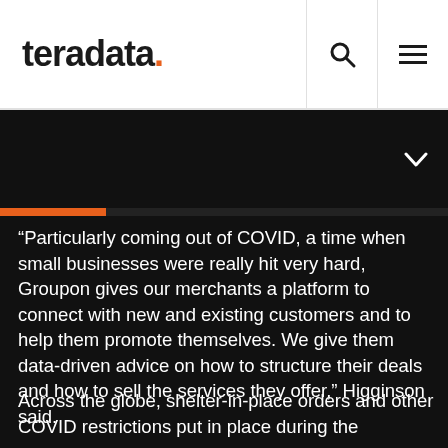teradata.
“Particularly coming out of COVID, a time when small businesses were really hit very hard, Groupon gives our merchants a platform to connect with new and existing customers and to help them promote themselves. We give them data-driven advice on how to structure their deals and how to sell the services they offer,” Higginson said.
Across the globe, shelter-in-place orders and other COVID restrictions put in place during the